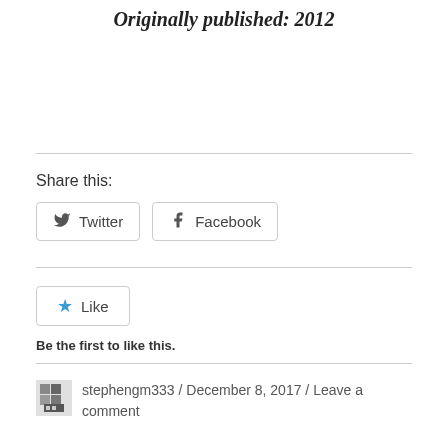Originally published: 2012
Share this:
Twitter  Facebook
Like  Be the first to like this.
stephengm333 / December 8, 2017 / Leave a comment